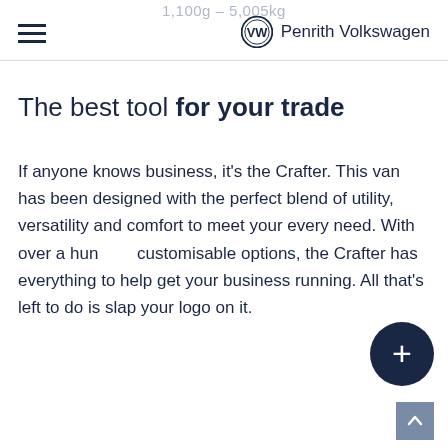1,100g - 5,005kg
≡  [VW logo]  Penrith Volkswagen
The best tool for your trade
If anyone knows business, it's the Crafter. This van has been designed with the perfect blend of utility, versatility and comfort to meet your every need. With over a hundred customisable options, the Crafter has everything to help get your business running. All that's left to do is slap your logo on it.